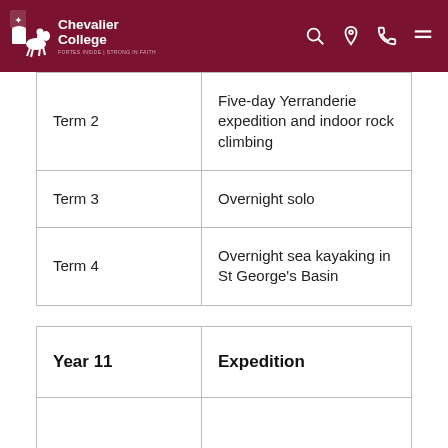Chevalier College
| Term 2 | Five-day Yerranderie expedition and indoor rock climbing |
| Term 3 | Overnight solo |
| Term 4 | Overnight sea kayaking in St George's Basin |
| Year 11 | Expedition |
| --- | --- |